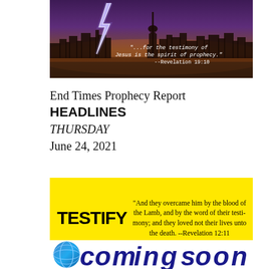[Figure (photo): Dark stormy night sky with lightning bolt over city skyline, purple and orange hued sky. White text overlay reads: '...for the testimony of Jesus is the spirit of prophecy.' --Revelation 19:10]
End Times Prophecy Report
HEADLINES
THURSDAY
June 24, 2021
[Figure (infographic): Yellow background banner with large bold black text 'TESTIFY' on the left side and a Bible quote on the right: '"And they overcame him by the blood of the Lamb, and by the word of their testimony; and they loved not their lives unto the death. --Revelation 12:11']
[Figure (logo): Partial view of a logo with globe/earth imagery and large stylized text, partially cropped at page bottom]